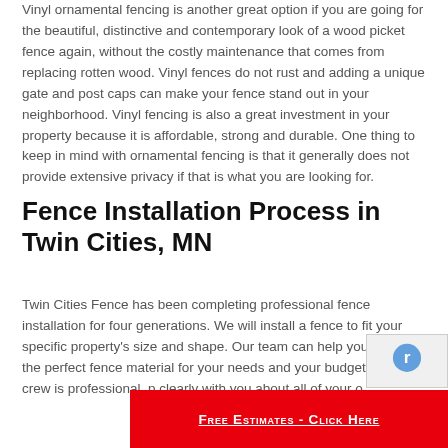Vinyl ornamental fencing is another great option if you are going for the beautiful, distinctive and contemporary look of a wood picket fence again, without the costly maintenance that comes from replacing rotten wood. Vinyl fences do not rust and adding a unique gate and post caps can make your fence stand out in your neighborhood. Vinyl fencing is also a great investment in your property because it is affordable, strong and durable. One thing to keep in mind with ornamental fencing is that it generally does not provide extensive privacy if that is what you are looking for.
Fence Installation Process in Twin Cities, MN
Twin Cities Fence has been completing professional fence installation for four generations. We will install a fence to fit your specific property's size and shape. Our team can help you choose the perfect fence material for your needs and your budget. Our crew is professional, p... clearly with you about all of your o...
Free Estimates - Click Here